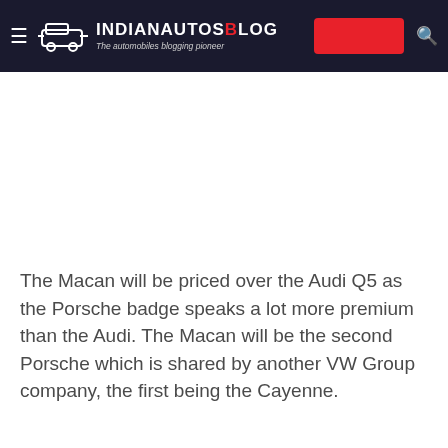IndianAutosBlog — The automobiles blogging pioneer
[Figure (photo): Large white/blank image area, likely a car photo placeholder]
The Macan will be priced over the Audi Q5 as the Porsche badge speaks a lot more premium than the Audi. The Macan will be the second Porsche which is shared by another VW Group company, the first being the Cayenne.